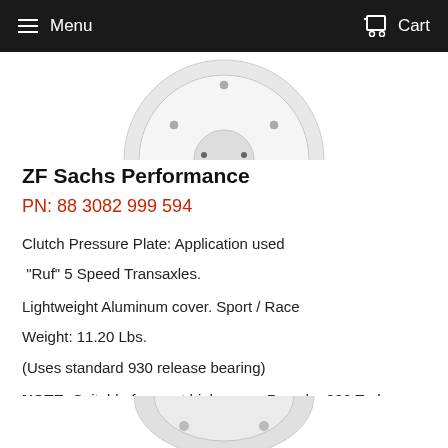Menu  Cart
[Figure (photo): Partial view of a circular clutch pressure plate component, silver/gray metallic, top portion cropped]
ZF Sachs Performance
PN: 88 3082 999 594
Clutch Pressure Plate: Application used
"Ruf" 5 Speed Transaxles.
Lightweight Aluminum cover. Sport / Race
Weight: 11.20 Lbs.
(Uses standard 930 release bearing)
NOTE: Suitable for most high power Porsche 930 Turbos
[Figure (photo): Partial view of a clutch component, silver metallic, bottom portion cropped]